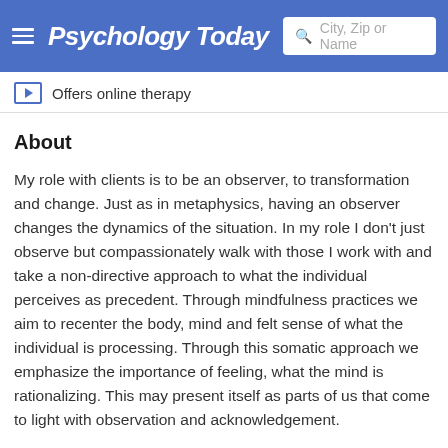Psychology Today — City, Zip or Name
Offers online therapy
About
My role with clients is to be an observer, to transformation and change. Just as in metaphysics, having an observer changes the dynamics of the situation. In my role I don't just observe but compassionately walk with those I work with and take a non-directive approach to what the individual perceives as precedent. Through mindfulness practices we aim to recenter the body, mind and felt sense of what the individual is processing. Through this somatic approach we emphasize the importance of feeling, what the mind is rationalizing. This may present itself as parts of us that come to light with observation and acknowledgement.